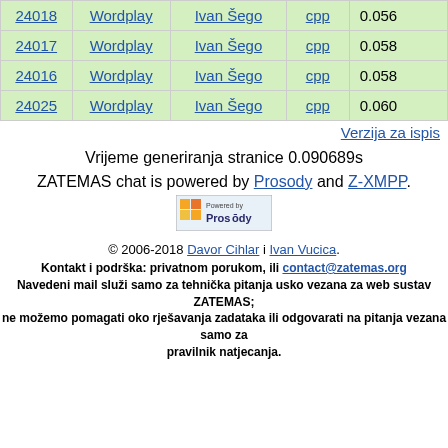| ID | Problem | Author | Lang | Score |
| --- | --- | --- | --- | --- |
| 24018 | Wordplay | Ivan Šego | cpp | 0.056 |
| 24017 | Wordplay | Ivan Šego | cpp | 0.058 |
| 24016 | Wordplay | Ivan Šego | cpp | 0.058 |
| 24025 | Wordplay | Ivan Šego | cpp | 0.060 |
Verzija za ispis
Vrijeme generiranja stranice 0.090689s
ZATEMAS chat is powered by Prosody and Z-XMPP.
[Figure (logo): Powered by Prosody badge/logo]
© 2006-2018 Davor Cihlar i Ivan Vucica.
Kontakt i podrška: privatnom porukom, ili contact@zatemas.org
Navedeni mail služi samo za tehnička pitanja usko vezana za web sustav ZATEMAS; ne možemo pomagati oko rješavanja zadataka ili odgovarati na pitanja vezana samo za pravilnik natjecanja.